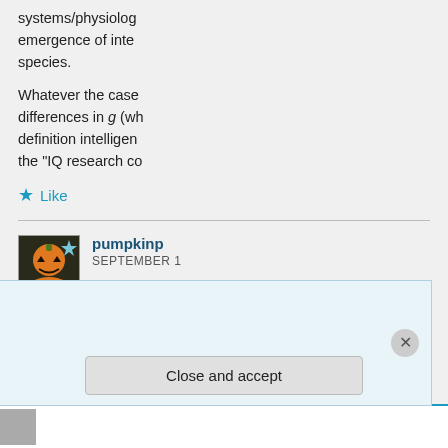systems/physiolog... emergence of inte... species.
Whatever the case... differences in g (wh... definition intelligen... the “IQ research co...
★ Like
pumpkinp
SEPTEMBER 1
In eight analyses, p...
Privacy & Cookies: This site uses cookies. By continuing to use this website, you agree to their use.
To find out more, including how to control cookies, see here: Cookie Policy
Close and accept